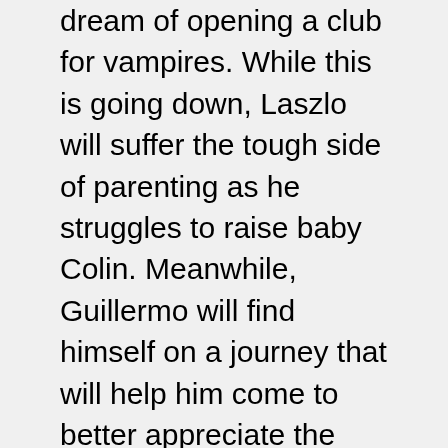dream of opening a club for vampires. While this is going down, Laszlo will suffer the tough side of parenting as he struggles to raise baby Colin. Meanwhile, Guillermo will find himself on a journey that will help him come to better appreciate the great family and friends in his life.
Something else to look forward to in this coming season is the introduction of new and unique places, such as the secret supernatural night market, the New Jersey Pine Barrens, and the spookiest of all, a wedding altar. Fans can also come to expect even more surprising guest appearances.
Don't miss the two-episode season premiere when it airs on July 12 at 10 p.m. ET/PT on FX. It will also be available to stream on Hulu the very next day, as will all following episodes.